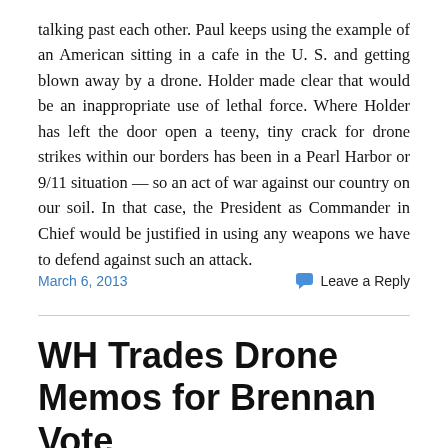talking past each other.  Paul keeps using the example of an American sitting in a cafe in the U. S. and getting blown away by a drone.  Holder made clear that would be an inappropriate use of lethal force.  Where Holder has left the door open a teeny, tiny crack for drone strikes within our borders has been in a Pearl Harbor or 9/11 situation — so an act of war against our country on our soil.  In that case, the President as Commander in Chief would be justified in using any weapons we have to defend against such an attack.
March 6, 2013
Leave a Reply
WH Trades Drone Memos for Brennan Vote